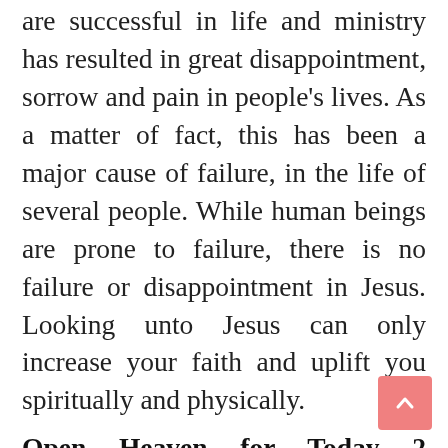are successful in life and ministry has resulted in great disappointment, sorrow and pain in people's lives. As a matter of fact, this has been a major cause of failure, in the life of several people. While human beings are prone to failure, there is no failure or disappointment in Jesus. Looking unto Jesus can only increase your faith and uplift you spiritually and physically.
Open Heaven for Today 2 December 2019 Monday: Prayer Point